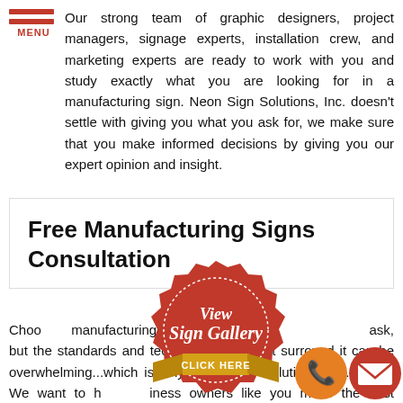MENU
Our strong team of graphic designers, project managers, signage experts, installation crew, and marketing experts are ready to work with you and study exactly what you are looking for in a manufacturing sign. Neon Sign Solutions, Inc. doesn't settle with giving you what you ask for, we make sure that you make informed decisions by giving you our expert opinion and insight.
Free Manufacturing Signs Consultation
[Figure (illustration): Red seal badge with 'View Sign Gallery CLICK HERE' text and gold ribbon banner]
Choosing manufacturing signage may seem like a simple task, but the standards and technical details that surround it can be overwhelming...which is why Neon Sign Solutions, Inc. exists. We want to help business owners like you make the best decisions abo
[Figure (illustration): Orange phone icon and red mail envelope icon contact buttons]